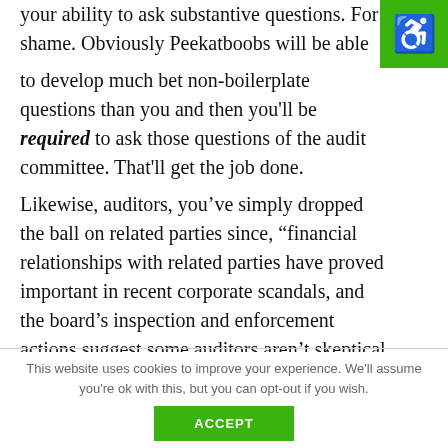your ability to ask substantive questions. For shame. Obviously Peekatboobs will be able to develop much better non-boilerplate questions than you and then you'll be required to ask those questions of the audit committee. That'll get the job done.
Likewise, auditors, you've simply dropped the ball on related parties since, “financial relationships with related parties have proved important in recent corporate scandals, and the board’s inspection and enforcement actions suggest some auditors aren’t skeptical enough when evaluating such relationships and transactions.”
This website uses cookies to improve your experience. We'll assume you're ok with this, but you can opt-out if you wish.
ACCEPT